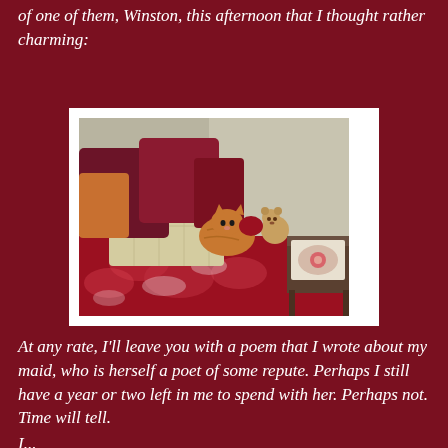of one of them, Winston, this afternoon that I thought rather charming:
[Figure (photo): A ginger cat sitting on a bed with red and white floral bedding, surrounded by several pillows including a large cream diamond-pattern pillow and dark red/maroon pillows. A small teddy bear is visible to the right of the cat. A small side table with a decorative tile or tray is on the right side of the image. The room has plain beige/cream walls.]
At any rate, I'll leave you with a poem that I wrote about my maid, who is herself a poet of some repute. Perhaps I still have a year or two left in me to spend with her. Perhaps not. Time will tell.
I...